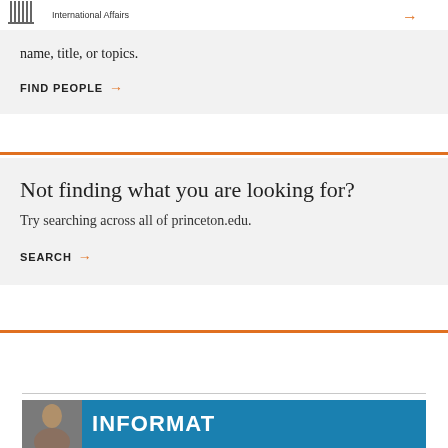International Affairs
name, title, or topics.
FIND PEOPLE →
Not finding what you are looking for?
Try searching across all of princeton.edu.
SEARCH →
[Figure (photo): Bottom strip with a photo of a person and a blue banner with partial text 'INFORMAT']